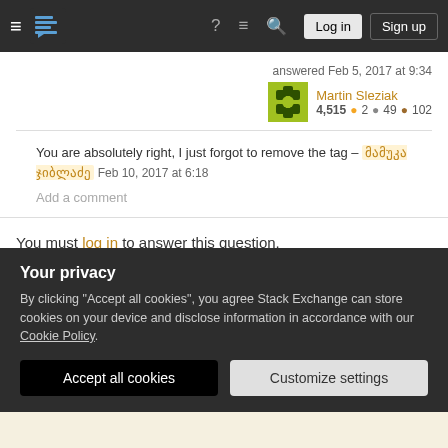Stack Exchange navigation bar with hamburger menu, logo, help, chat, search icons, Log in and Sign up buttons
answered Feb 5, 2017 at 9:34
Martin Sleziak 4,515 ● 2 ● 49 ● 102
You are absolutely right, I just forgot to remove the tag – მამუკა ჯიბლაძე Feb 10, 2017 at 6:18
Add a comment
You must log in to answer this question.
Not the answer you're looking for? Browse other questions
Your privacy
By clicking "Accept all cookies", you agree Stack Exchange can store cookies on your device and disclose information in accordance with our Cookie Policy.
Accept all cookies
Customize settings